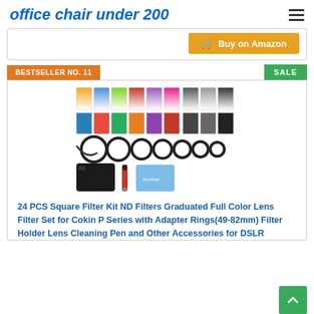office chair under 200
[Figure (other): Buy on Amazon button with orange background and cart icon]
BESTSELLER NO. 11
SALE
[Figure (photo): 24 PCS Square Filter Kit product photo showing colored gradient filters, ring adapters, filter holder, lens cleaning pen, and carrying case]
24 PCS Square Filter Kit ND Filters Graduated Full Color Lens Filter Set for Cokin P Series with Adapter Rings(49-82mm) Filter Holder Lens Cleaning Pen and Other Accessories for DSLR